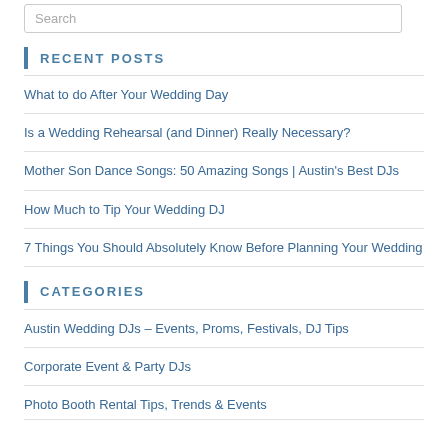Search
RECENT POSTS
What to do After Your Wedding Day
Is a Wedding Rehearsal (and Dinner) Really Necessary?
Mother Son Dance Songs: 50 Amazing Songs | Austin's Best DJs
How Much to Tip Your Wedding DJ
7 Things You Should Absolutely Know Before Planning Your Wedding
CATEGORIES
Austin Wedding DJs – Events, Proms, Festivals, DJ Tips
Corporate Event & Party DJs
Photo Booth Rental Tips, Trends & Events